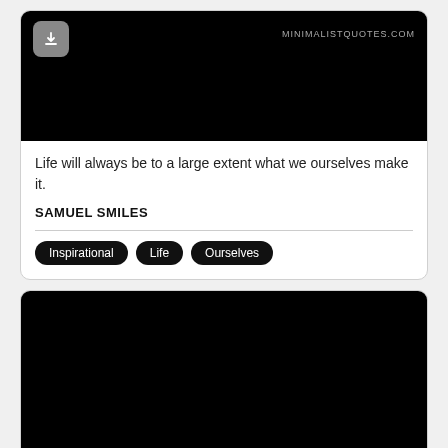[Figure (screenshot): Black background image with a download button (grey rounded square with down arrow) on the left and 'MINIMALISTQUOTES.COM' text on the right]
Life will always be to a large extent what we ourselves make it.
SAMUEL SMILES
Inspirational  Life  Ourselves
[Figure (screenshot): Black background image with bold white text at bottom reading 'Make good thy standing']